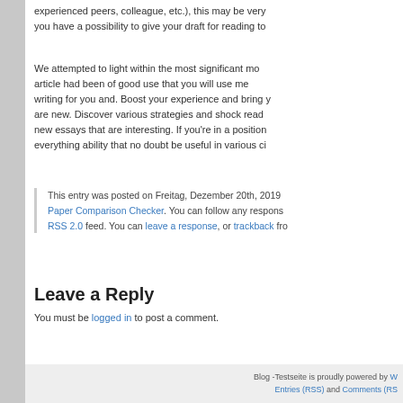experienced peers, colleague, etc.), this may be very… you have a possibility to give your draft for reading to…
We attempted to light within the most significant mo… article had been of good use that you will use me… writing for you and. Boost your experience and bring y… are new. Discover various strategies and shock read… new essays that are interesting. If you're in a position… everything ability that no doubt be useful in various ci…
This entry was posted on Freitag, Dezember 20th, 2019… Paper Comparison Checker. You can follow any respons… RSS 2.0 feed. You can leave a response, or trackback fro…
Leave a Reply
You must be logged in to post a comment.
Blog -Testseite is proudly powered by W… Entries (RSS) and Comments (RS…